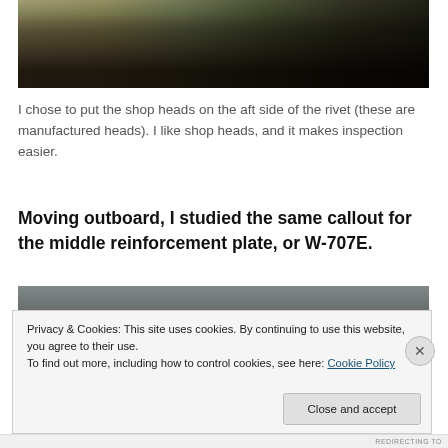[Figure (photo): Close-up photo of aircraft rivet/fastener area showing manufactured heads on the aft side, with mechanical components visible]
I chose to put the shop heads on the aft side of the rivet (these are manufactured heads). I like shop heads, and it makes inspection easier.
Moving outboard, I studied the same callout for the middle reinforcement plate, or W-707E.
[Figure (photo): Photo of a metal reinforcement plate, grey surface, partially visible]
Privacy & Cookies: This site uses cookies. By continuing to use this website, you agree to their use.
To find out more, including how to control cookies, see here: Cookie Policy
Close and accept